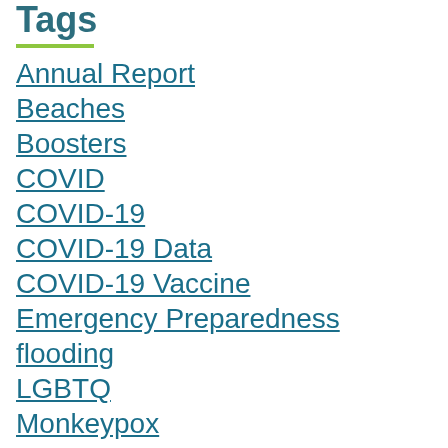Tags
Annual Report
Beaches
Boosters
COVID
COVID-19
COVID-19 Data
COVID-19 Vaccine
Emergency Preparedness
flooding
LGBTQ
Monkeypox
Overdose Prevention